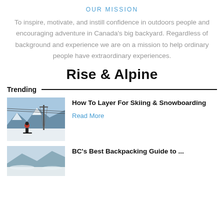OUR MISSION
To inspire, motivate, and instill confidence in outdoors people and encouraging adventure in Canada's big backyard. Regardless of background and experience we are on a mission to help ordinary people have extraordinary experiences.
Rise & Alpine
Trending
[Figure (photo): Skier standing on snowy mountain slope with a ski lift tower and mountain range in the background]
How To Layer For Skiing & Snowboarding
Read More
[Figure (photo): Snow-covered mountain landscape]
BC's Best Backpacking Guide to ...